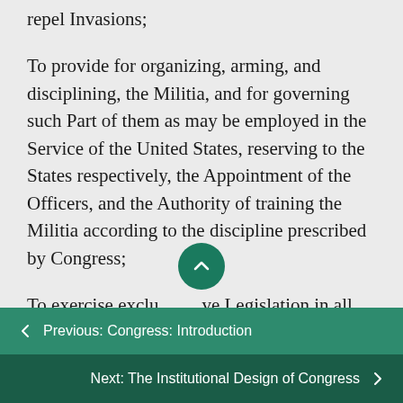repel Invasions;
To provide for organizing, arming, and disciplining, the Militia, and for governing such Part of them as may be employed in the Service of the United States, reserving to the States respectively, the Appointment of the Officers, and the Authority of training the Militia according to the discipline prescribed by Congress;
To exercise exclusive Legislation in all Cases whatsoever, over such
← Previous: Congress: Introduction
Next: The Institutional Design of Congress →